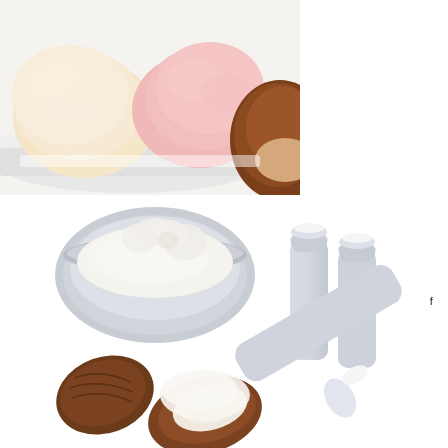[Figure (photo): Photo of scoops of vanilla and strawberry ice cream in a white dish, with a brown chocolate item in the background on the right.]
[Figure (photo): Photo of cocoa butter ingredients including a silver bowl of white shea/cocoa butter, cocoa pods, and three white lip balm tubes/sticks.]
Cocoa But
Also, cocoa butter is one of the most stable oils and butters... Recipe!